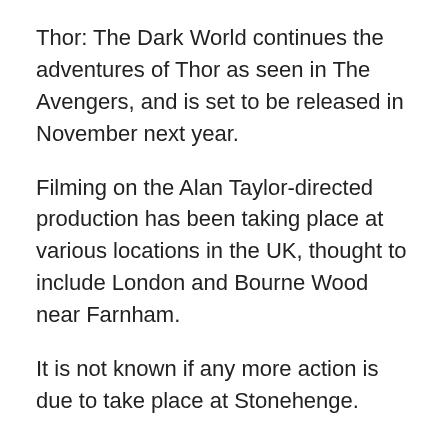Thor: The Dark World continues the adventures of Thor as seen in The Avengers, and is set to be released in November next year.
Filming on the Alan Taylor-directed production has been taking place at various locations in the UK, thought to include London and Bourne Wood near Farnham.
It is not known if any more action is due to take place at Stonehenge.
Link Source: Salusbury Journal – http://www.salisburyjournal.co.uk/news/salisbury/salisburynews/9898652.Film_being_shot_at_Stonehenge/
Sponsored by Stonehenge Guided Tours.